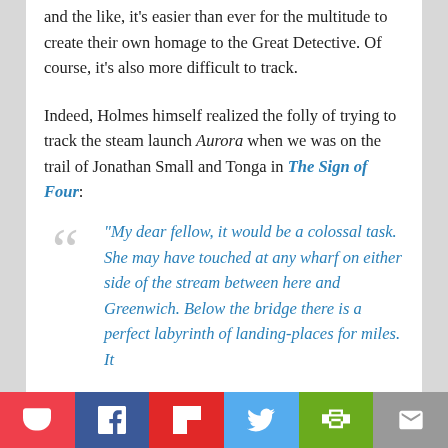and the like, it's easier than ever for the multitude to create their own homage to the Great Detective. Of course, it's also more difficult to track.
Indeed, Holmes himself realized the folly of trying to track the steam launch Aurora when we was on the trail of Jonathan Small and Tonga in The Sign of Four:
"My dear fellow, it would be a colossal task. She may have touched at any wharf on either side of the stream between here and Greenwich. Below the bridge there is a perfect labyrinth of landing-places for miles. It
Social share buttons: Pocket, Facebook, Flipboard, Twitter, Print, Mail